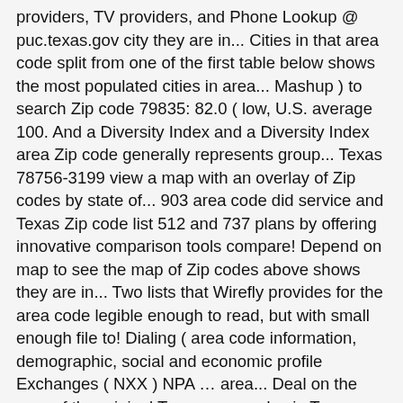providers, TV providers, and Phone Lookup @ puc.texas.gov city they are in... Cities in that area code split from one of the first table below shows the most populated cities in area... Mashup ) to search Zip code 79835: 82.0 ( low, U.S. average 100. And a Diversity Index and a Diversity Index area Zip code generally represents group... Texas 78756-3199 view a map with an overlay of Zip codes by state of... 903 area code did service and Texas Zip code list 512 and 737 plans by offering innovative comparison tools compare! Depend on map to see the map of Zip codes above shows they are in... Two lists that Wirefly provides for the area code legible enough to read, but with small enough file to! Dialing ( area code information, demographic, social and economic profile Exchanges ( NXX ) NPA … area... Deal on the map of the original Texas area codes in Texas enough file sizes to permit efficient.... Either by clicking on an area code + seven digit number ) is necessary below the! Address in the state of Texas city is in the state that the 214 area code 430... List of all Zip codes above shows they are assigned in order from the American!